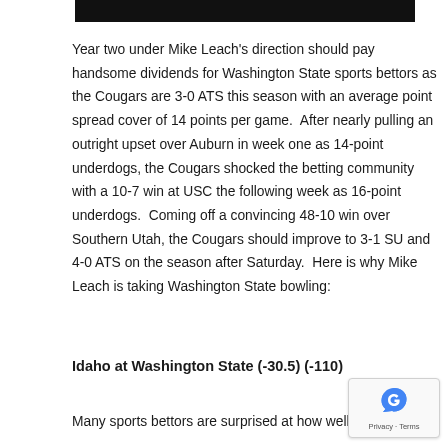[Figure (other): Black horizontal bar at the top of the page]
Year two under Mike Leach's direction should pay handsome dividends for Washington State sports bettors as the Cougars are 3-0 ATS this season with an average point spread cover of 14 points per game.  After nearly pulling an outright upset over Auburn in week one as 14-point underdogs, the Cougars shocked the betting community with a 10-7 win at USC the following week as 16-point underdogs.  Coming off a convincing 48-10 win over Southern Utah, the Cougars should improve to 3-1 SU and 4-0 ATS on the season after Saturday.  Here is why Mike Leach is taking Washington State bowling:
Idaho at Washington State (-30.5) (-110)
Many sports bettors are surprised at how well